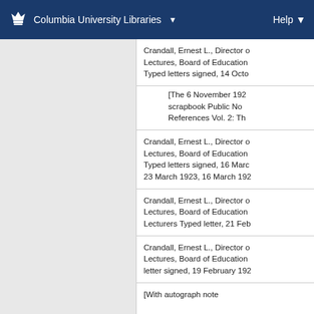Columbia University Libraries  Help
Crandall, Ernest L., Director of Lectures, Board of Education T Typed letters signed, 14 Octo
[The 6 November 192 scrapbook Public No References Vol. 2: Th
Crandall, Ernest L., Director of Lectures, Board of Education T Typed letters signed, 16 March 23 March 1923, 16 March 192
Crandall, Ernest L., Director of Lectures, Board of Education T Lecturers Typed letter, 21 Feb
Crandall, Ernest L., Director of Lectures, Board of Education T letter signed, 19 February 192
[With autograph note